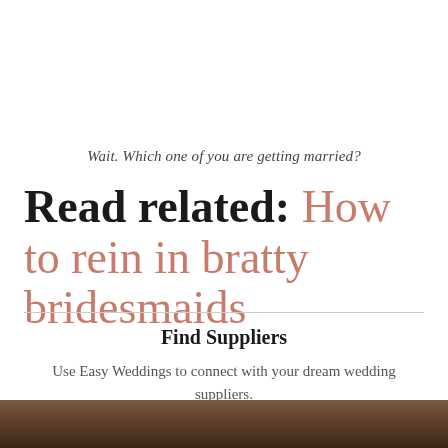Wait. Which one of you are getting married?
Read related: How to rein in bratty bridesmaids
Find Suppliers
Use Easy Weddings to connect with your dream wedding suppliers.
Browse the directory and start planning today!
[Figure (photo): Photo strip of bridesmaids or wedding party at the bottom of the page]